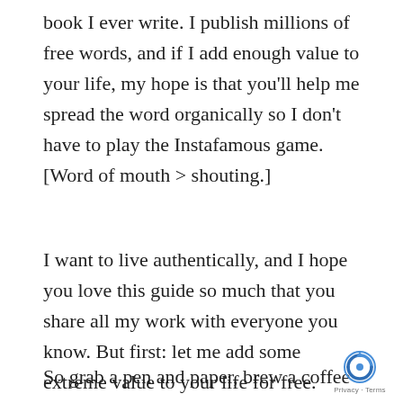book I ever write. I publish millions of free words, and if I add enough value to your life, my hope is that you'll help me spread the word organically so I don't have to play the Instafamous game. [Word of mouth > shouting.]
I want to live authentically, and I hope you love this guide so much that you share all my work with everyone you know. But first: let me add some extreme value to your life for free.
So grab a pen and paper, brew a coffee or
[Figure (other): reCAPTCHA badge with Privacy and Terms links in bottom right corner]